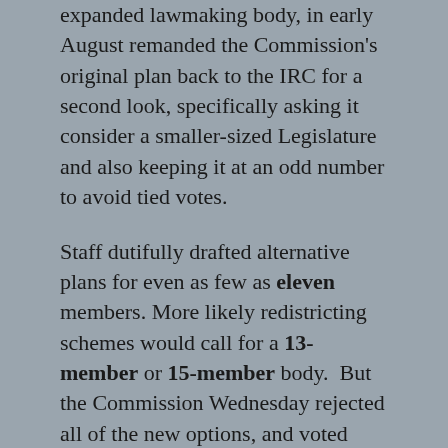expanded lawmaking body, in early August remanded the Commission's original plan back to the IRC for a second look, specifically asking it consider a smaller-sized Legislature and also keeping it at an odd number to avoid tied votes.
Staff dutifully drafted alternative plans for even as few as eleven members. More likely redistricting schemes would call for a 13-member or 15-member body. But the Commission Wednesday rejected all of the new options, and voted unanimously to resubmit to the Legislature its original plan.
Barring a legal challenge, the County Charter may give the Legislature little choice but to accept the IRC's resubmission as final.